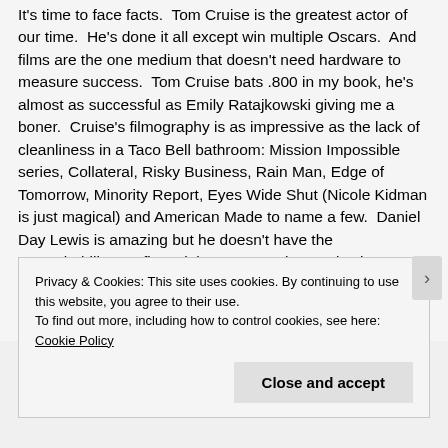It's time to face facts.  Tom Cruise is the greatest actor of our time.  He's done it all except win multiple Oscars.  And films are the one medium that doesn't need hardware to measure success.  Tom Cruise bats .800 in my book, he's almost as successful as Emily Ratajkowski giving me a boner.  Cruise's filmography is as impressive as the lack of cleanliness in a Taco Bell bathroom: Mission Impossible series, Collateral, Risky Business, Rain Man, Edge of Tomorrow, Minority Report, Eyes Wide Shut (Nicole Kidman is just magical) and American Made to name a few.  Daniel Day Lewis is amazing but he doesn't have the rewatchability nor financial successes that Cruise has.  Same goes for DiCaprio but I'll accept Tom Hanks as a viable contestant.  Early critic reviews had described this latest installment of Mission Impossible as the
Privacy & Cookies: This site uses cookies. By continuing to use this website, you agree to their use.
To find out more, including how to control cookies, see here: Cookie Policy
Close and accept